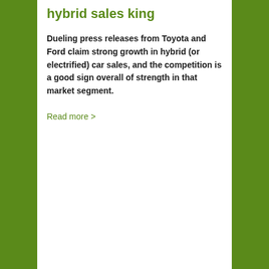hybrid sales king
Dueling press releases from Toyota and Ford claim strong growth in hybrid (or electrified) car sales, and the competition is a good sign overall of strength in that market segment.
Read more >